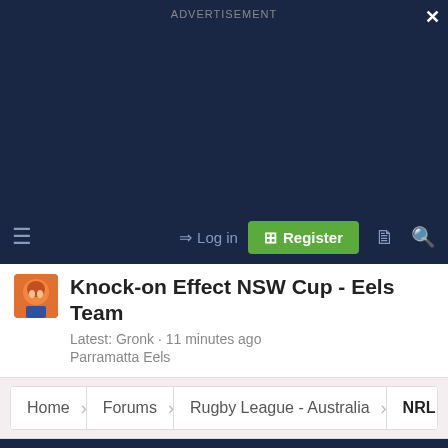ADVERTISEMENT
≡   → Log in   Register
Knock-on Effect NSW Cup - Eels Team
Latest: Gronk · 11 minutes ago
Parramatta Eels
Home › Forums › Rugby League - Australia › NRL Expansion
✏ Novus (Light)
Contact us   Terms and rules   Privacy policy   Help
Community platform by XenForo® © 2010-2021 XenForo Ltd. // XenForo theme by xenfocus